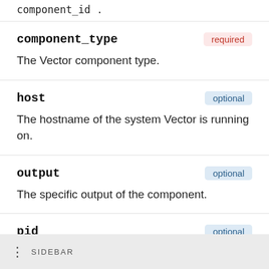component_id .
component_type
required
The Vector component type.
host
optional
The hostname of the system Vector is running on.
output
optional
The specific output of the component.
pid
optional
The process ID of the Vector instance.
SIDEBAR